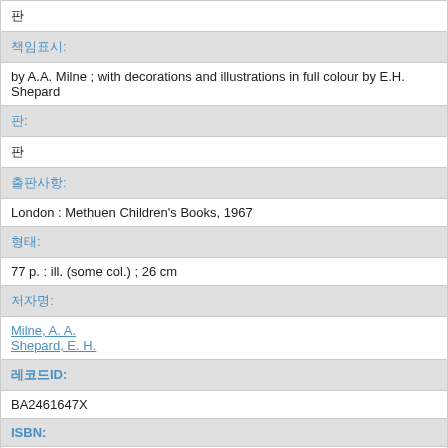| 책임: |
| by A.A. Milne ; with decorations and illustrations in full colour by E.H. Shepard |
| 판: |
| 판 |
| 출판사항: |
| London : Methuen Children's Books, 1967 |
| 형태: |
| 77 p. : ill. (some col.) ; 26 cm |
| 저자명: |
| Milne, A. A.
Shepard, E. H. |
| 레코드ID: |
| BA2461647X |
| ISBN: |
| 9780416663709 [0416663702] |